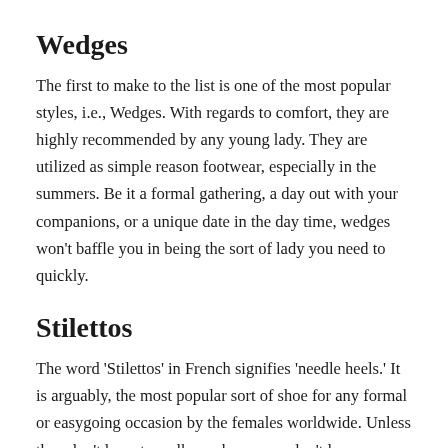Wedges
The first to make to the list is one of the most popular styles, i.e., Wedges. With regards to comfort, they are highly recommended by any young lady. They are utilized as simple reason footwear, especially in the summers. Be it a formal gathering, a day out with your companions, or a unique date in the day time, wedges won't baffle you in being the sort of lady you need to quickly.
Stilettos
The word 'Stilettos' in French signifies 'needle heels.' It is arguably, the most popular sort of shoe for any formal or easygoing occasion by the females worldwide. Unless they don't have to walk much, women don't lose a chance to wear this. At any point, when you are confused about what to